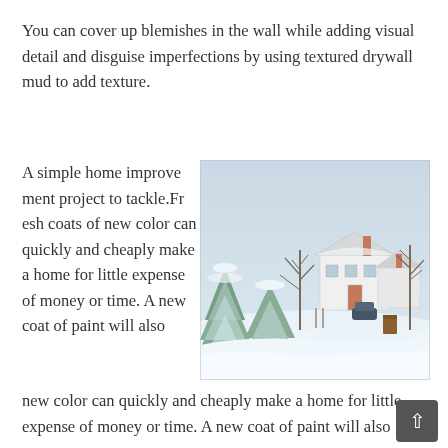You can cover up blemishes in the wall while adding visual detail and disguise imperfections by using textured drywall mud to add texture.
A simple home improvement project to tackle.Fresh coats of new color can quickly and cheaply make a home for little expense of money or time. A new coat of paint will also
[Figure (photo): A winter snow scene showing a white colonial-style house with snow-covered evergreen trees in the foreground, bare deciduous trees and additional houses in the background, under a pale overcast sky.]